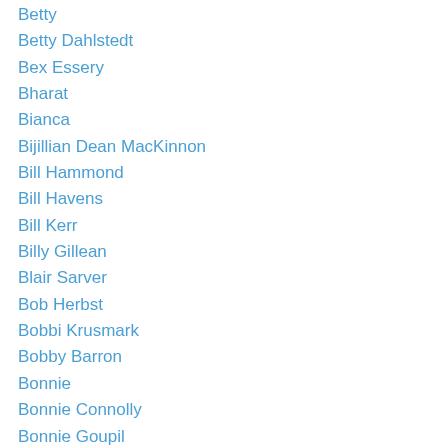Betty
Betty Dahlstedt
Bex Essery
Bharat
Bianca
Bijillian Dean MacKinnon
Bill Hammond
Bill Havens
Bill Kerr
Billy Gillean
Blair Sarver
Bob Herbst
Bobbi Krusmark
Bobby Barron
Bonnie
Bonnie Connolly
Bonnie Goupil
Brad Muggeridge
Bradley “ Jay” Ford
Brandi Holland